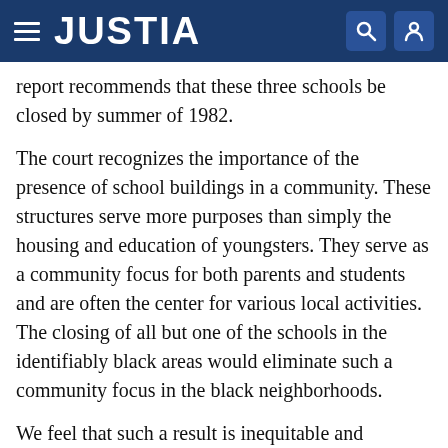JUSTIA
report recommends that these three schools be closed by summer of 1982.
The court recognizes the importance of the presence of school buildings in a community. These structures serve more purposes than simply the housing and education of youngsters. They serve as a community focus for both parents and students and are often the center for various local activities. The closing of all but one of the schools in the identifiably black areas would eliminate such a community focus in the black neighborhoods.
We feel that such a result is inequitable and undesirable. Because there are alternatives before the court which will maintain at least two school buildings in the black community, we find this aspect of the Board's plan to be a serious defect. Under the Board's plan, the burden